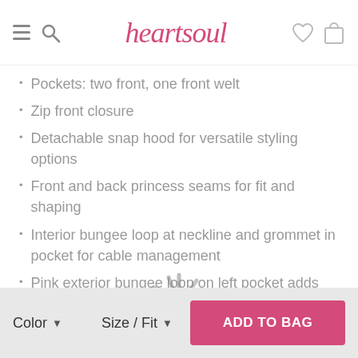heartsoul
Pockets: two front, one front welt
Zip front closure
Detachable snap hood for versatile styling options
Front and back princess seams for fit and shaping
Interior bungee loop at neckline and grommet in pocket for cable management
Pink exterior bungee loop on left pocket adds pop of color
Signature woven tape at back neck and hood edge are fun details
Elastic binding at sleeve hem
Length: 24½"
Color ▼   Size / Fit ▼   ADD TO BAG